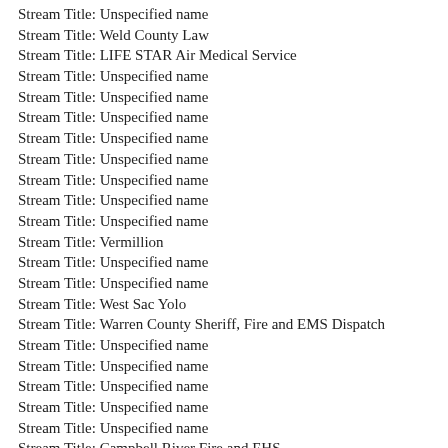Stream Title: Unspecified name
Stream Title: Weld County Law
Stream Title: LIFE STAR Air Medical Service
Stream Title: Unspecified name
Stream Title: Unspecified name
Stream Title: Unspecified name
Stream Title: Unspecified name
Stream Title: Unspecified name
Stream Title: Unspecified name
Stream Title: Unspecified name
Stream Title: Unspecified name
Stream Title: Vermillion
Stream Title: Unspecified name
Stream Title: Unspecified name
Stream Title: West Sac Yolo
Stream Title: Warren County Sheriff, Fire and EMS Dispatch
Stream Title: Unspecified name
Stream Title: Unspecified name
Stream Title: Unspecified name
Stream Title: Unspecified name
Stream Title: Unspecified name
Stream Title: Campbell River Fire and EHS
Stream Title: Unspecified name
Stream Title: Kentucky State Police Post 3 (Bowling Green)
Stream Title: Clarkstown Police Department Dispatch